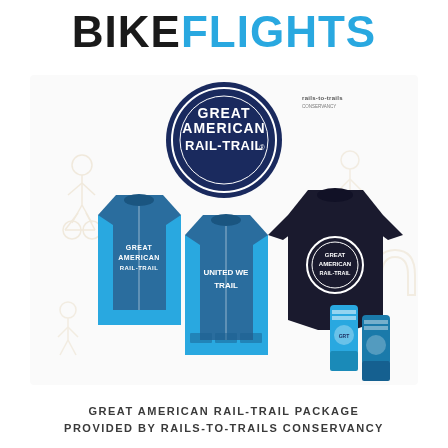BIKEFLIGHTS
[Figure (photo): Great American Rail-Trail merchandise package including cycling jersey (front and back views in navy and teal), dark t-shirt with circular logo, and teal socks. Background features faint outline illustrations of cyclists and trail-related imagery. A circular Great American Rail-Trail logo badge appears at the top center, with a small Rails-to-Trails Conservancy logo in the upper right.]
GREAT AMERICAN RAIL-TRAIL PACKAGE
PROVIDED BY RAILS-TO-TRAILS CONSERVANCY